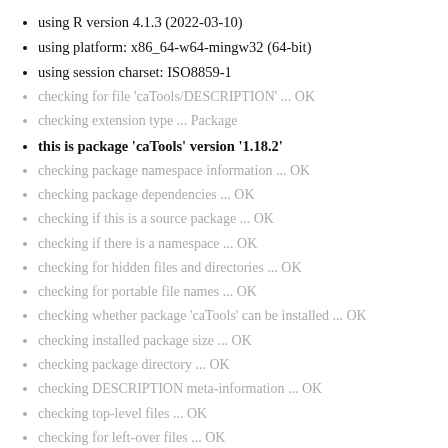using R version 4.1.3 (2022-03-10)
using platform: x86_64-w64-mingw32 (64-bit)
using session charset: ISO8859-1
checking for file 'caTools/DESCRIPTION' ... OK
checking extension type ... Package
this is package 'caTools' version '1.18.2'
checking package namespace information ... OK
checking package dependencies ... OK
checking if this is a source package ... OK
checking if there is a namespace ... OK
checking for hidden files and directories ... OK
checking for portable file names ... OK
checking whether package 'caTools' can be installed ... OK
checking installed package size ... OK
checking package directory ... OK
checking DESCRIPTION meta-information ... OK
checking top-level files ... OK
checking for left-over files ... OK
checking index information ... OK
checking package subdirectories ... OK
checking R files for non-ASCII characters ... OK
checking R files for syntax errors ... OK
loading checks for arch 'i386'
** checking whether the package can be loaded ... OK